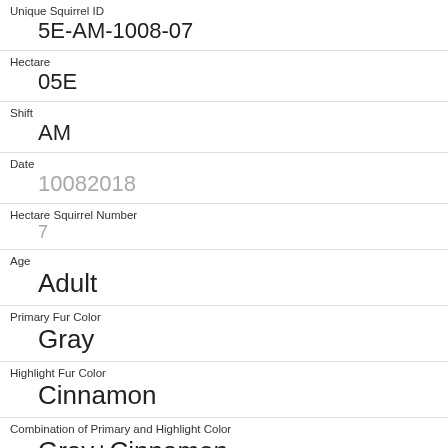| Unique Squirrel ID | 5E-AM-1008-07 |
| Hectare | 05E |
| Shift | AM |
| Date | 10082018 |
| Hectare Squirrel Number | 7 |
| Age | Adult |
| Primary Fur Color | Gray |
| Highlight Fur Color | Cinnamon |
| Combination of Primary and Highlight Color | Gray+Cinnamon |
| Color notes |  |
| Location |  |